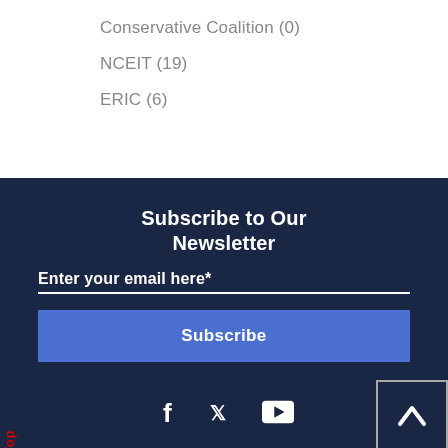Conservative Coalition (0)
NCEIT (19)
ERIC (6)
Subscribe to Our Newsletter
Enter your email here*
Subscribe
Back to Top